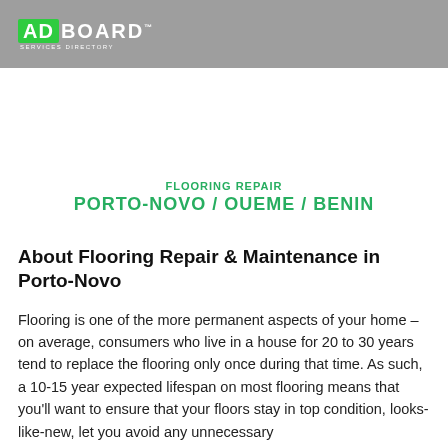ADBOARD SERVICES DIRECTORY
FLOORING REPAIR
PORTO-NOVO / OUEME / BENIN
About Flooring Repair & Maintenance in Porto-Novo
Flooring is one of the more permanent aspects of your home – on average, consumers who live in a house for 20 to 30 years tend to replace the flooring only once during that time. As such, a 10-15 year expected lifespan on most flooring means that you'll want to ensure that your floors stay in top condition, looks-like-new, let you avoid any unnecessary